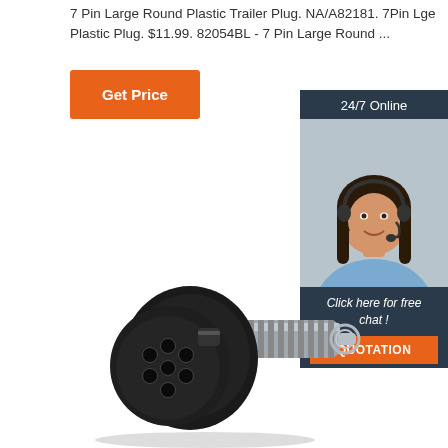7 Pin Large Round Plastic Trailer Plug. NA/A82181. 7Pin Lge Plastic Plug. $11.99. 82054BL - 7 Pin Large Round ...
Get Price
[Figure (photo): 24/7 Online customer support chat widget showing a smiling woman with a headset, dark header with '24/7 Online', footer text 'Click here for free chat!' and orange QUOTATION button]
[Figure (photo): 7-pin large round plastic trailer plug connector, black round head with 7 circular pin holes and a metal barrel body with spring ring on end]